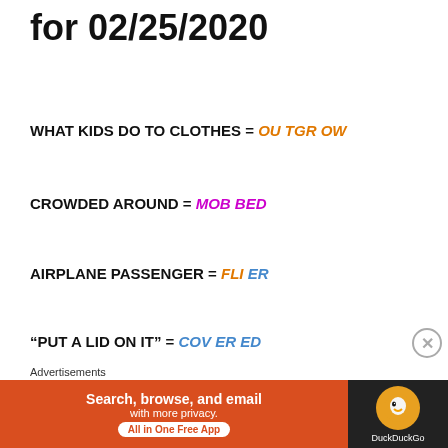for 02/25/2020
WHAT KIDS DO TO CLOTHES = OU TGR OW
CROWDED AROUND = MOB BED
AIRPLANE PASSENGER = FLI ER
"PUT A LID ON IT" = COV ER ED
SEARCH THROUGH DISCARDS = SC AV EN GE
UNSYMPATHETIC = HEA RTL ESS
Advertisements
[Figure (other): DuckDuckGo advertisement banner: Search, browse, and email with more privacy. All in One Free App.]